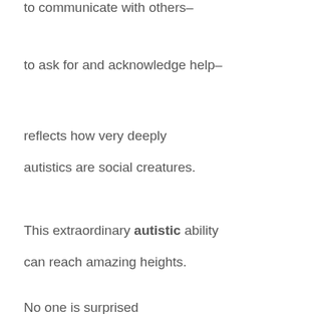to communicate with others–
to ask for and acknowledge help–
reflects how very deeply autistics are social creatures.
This extraordinary autistic ability can reach amazing heights.
No one is surprised